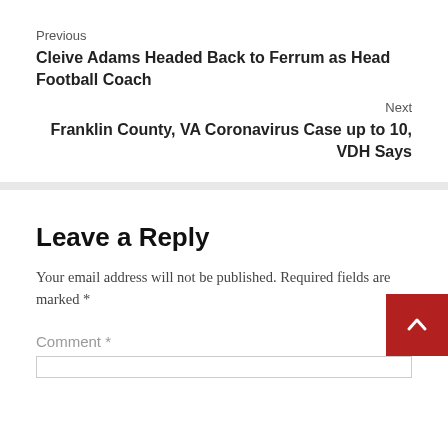Previous
Cleive Adams Headed Back to Ferrum as Head Football Coach
Next
Franklin County, VA Coronavirus Case up to 10, VDH Says
Leave a Reply
Your email address will not be published. Required fields are marked *
Comment *